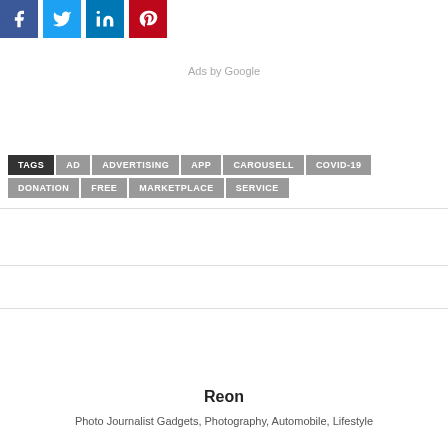[Figure (illustration): Four social media share buttons: Facebook (blue), Twitter (light blue), LinkedIn (blue), Pinterest (red), each with white icon]
Ads by Google
TAGS  AD  ADVERTISING  APP  CAROUSELL  COVID-19  DONATION  FREE  MARKETPLACE  SERVICE
Reon
Photo Journalist Gadgets, Photography, Automobile, Lifestyle